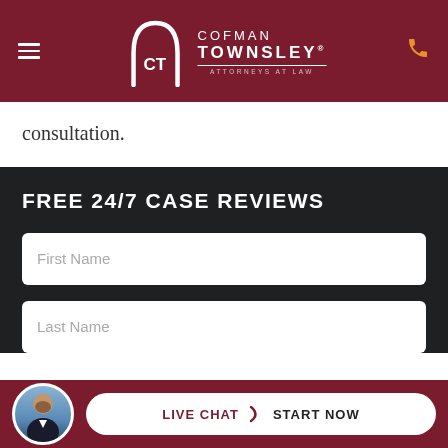[Figure (logo): Cofman Townsley Attorneys at Law logo with arch/gateway icon in white on dark red header bar]
consultation.
FREE 24/7 CASE REVIEWS
[Figure (infographic): Web form with First Name and Last Name input fields on dark background]
[Figure (infographic): Live Chat Start Now button with attorney avatar photo at bottom of page on dark red bar]